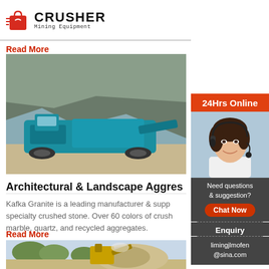[Figure (logo): Crusher Mining Equipment logo with red shopping bag icon and bold CRUSHER text]
Read More
[Figure (photo): Blue mobile crushing/screening machine on a rocky quarry site]
Architectural & Landscape Aggre...
Kafka Granite is a leading manufacturer & supplier of specialty crushed stone. Over 60 colors of crushed marble, quartz, and recycled aggregates.
Read More
[Figure (photo): Quarry site with yellow crusher machine and large pile of crushed stone]
[Figure (photo): 24Hrs Online sidebar with customer service representative wearing headset]
Need questions & suggestion?
Chat Now
Enquiry
limingjlmofen@sina.com